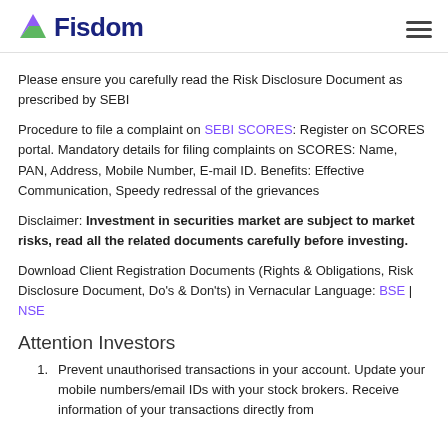Fisdom
Please ensure you carefully read the Risk Disclosure Document as prescribed by SEBI
Procedure to file a complaint on SEBI SCORES: Register on SCORES portal. Mandatory details for filing complaints on SCORES: Name, PAN, Address, Mobile Number, E-mail ID. Benefits: Effective Communication, Speedy redressal of the grievances
Disclaimer: Investment in securities market are subject to market risks, read all the related documents carefully before investing.
Download Client Registration Documents (Rights & Obligations, Risk Disclosure Document, Do's & Don'ts) in Vernacular Language: BSE | NSE
Attention Investors
Prevent unauthorised transactions in your account. Update your mobile numbers/email IDs with your stock brokers. Receive information of your transactions directly from